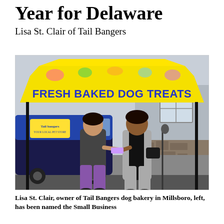Year for Delaware
Lisa St. Clair of Tail Bangers
[Figure (photo): Two women standing under a bright yellow canopy tent with bold blue text reading 'FRESH BAKED DOG TREATS'. In the background is a colorfully wrapped van also branded for Tail Bangers dog bakery. One woman (left) wears a dark sweater and patterned pants; the other (right) wears a gray blazer and holds a black handbag. They appear to be exchanging something, possibly an award or document. The setting is a parking lot next to a building with stone and gray siding.]
Lisa St. Clair, owner of Tail Bangers dog bakery in Millsboro, left, has been named the Small Business